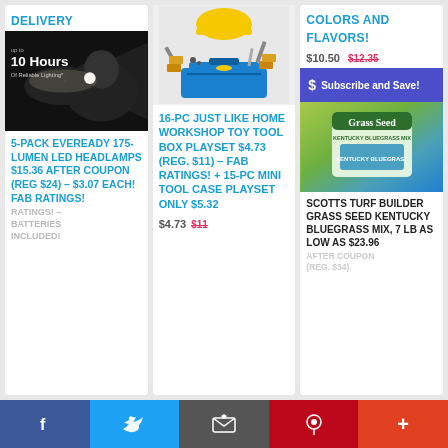DELIVERY
[Figure (photo): Man wearing a headlamp at night with text '10 Hours Of Reliable Lighting*']
5-PACK EVEREADY 175-LUMEN LED HEADLAMPS $15.36 AFTER COUPON (REG $24) – $3.07 EACH! FAB RATINGS! – BATTERIES INCLUDED!
[Figure (photo): 16-piece toy workshop tool set with toolbox, tools, and hard hat scattered around a blue toolbox]
16-PC JUST LIKE HOME WORKSHOP TOY TOOL BOX PLAYSET $4.73 (REG. $11) – FAB RATINGS! + 15-PC MINI TOOL CASE PLAYSET ONLY $5.32
$4.73
$11
COLORS AND FLAVORS!
$10.50
$12.35
$ Subscribe and Save!
[Figure (photo): Scotts Turf Builder Grass Seed Kentucky Bluegrass Mix bag]
SCOTTS TURF BUILDER GRASS SEED KENTUCKY BLUEGRASS MIX, 7 LB AS LOW AS $23.96
AFTER COUPON (REG. $34).
f  Twitter  Email  Pinterest  +